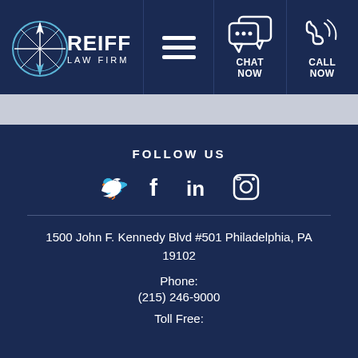[Figure (logo): Reiff Law Firm logo with compass and text]
[Figure (infographic): Navigation header bar with hamburger menu, chat now, and call now icons]
FOLLOW US
[Figure (infographic): Social media icons: Twitter, Facebook, LinkedIn, Instagram]
1500 John F. Kennedy Blvd #501 Philadelphia, PA 19102
Phone:
(215) 246-9000
Toll Free: